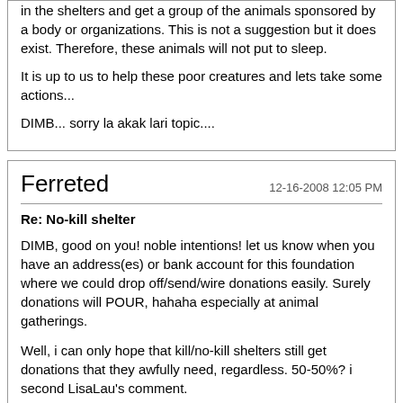in the shelters and get a group of the animals sponsored by a body or organizations. This is not a suggestion but it does exist. Therefore, these animals will not put to sleep.

It is up to us to help these poor creatures and lets take some actions...

DIMB... sorry la akak lari topic....
Ferreted
12-16-2008 12:05 PM
Re: No-kill shelter
DIMB, good on you! noble intentions! let us know when you have an address(es) or bank account for this foundation where we could drop off/send/wire donations easily. Surely donations will POUR, hahaha especially at animal gatherings.

Well, i can only hope that kill/no-kill shelters still get donations that they awfully need, regardless. 50-50%? i second LisaLau's comment.

Sometimes we dont even have to take out a penny.. like newspapers and old clothings..

Cheers
dog is my buddy
12-16-2008 12:54 PM